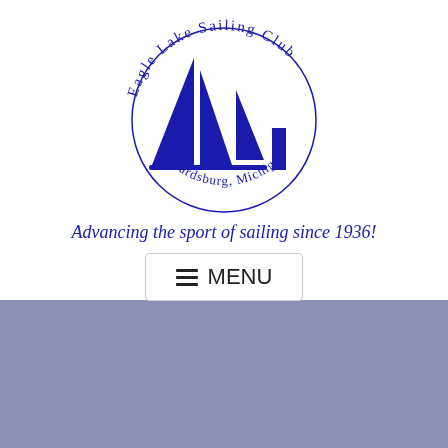[Figure (logo): Eagle Lake Sailing Club circular logo with blue sailboat silhouettes in the center, text 'Eagle Lake Sailing Club' arched around the top and 'Edwardsburg, Michigan' arched around the bottom, all in dark blue.]
Advancing the sport of sailing since 1936!
MENU